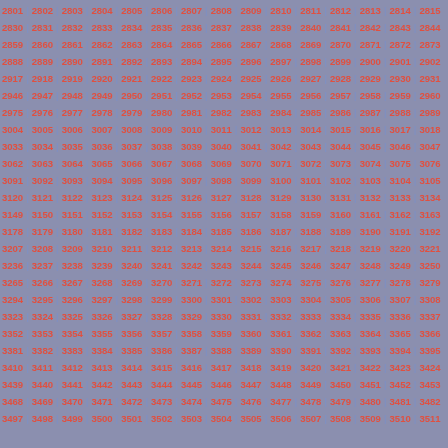Grid of numbers from 2801 to 3511, arranged in rows of 15 numbers separated by pipe characters, on a blue-gray background with red/coral colored numbers.